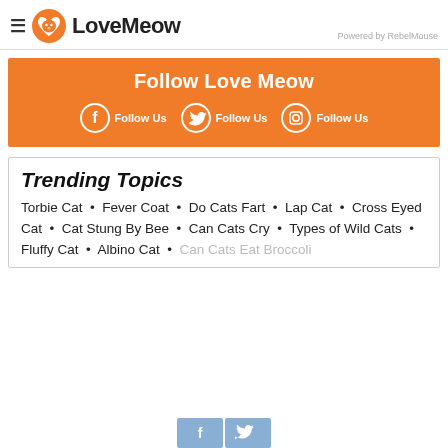LoveMeow — Powered by RebelMouse
[Figure (infographic): Follow Love Meow orange banner with Facebook, Twitter, and Instagram Follow Us links]
Trending Topics
Torbie Cat · Fever Coat · Do Cats Fart · Lap Cat · Cross Eyed Cat · Cat Stung By Bee · Can Cats Cry · Types of Wild Cats · Fluffy Cat · Albino Cat · Can Cats Eat Broccoli
[Figure (infographic): Facebook and Twitter share buttons partially visible at bottom]